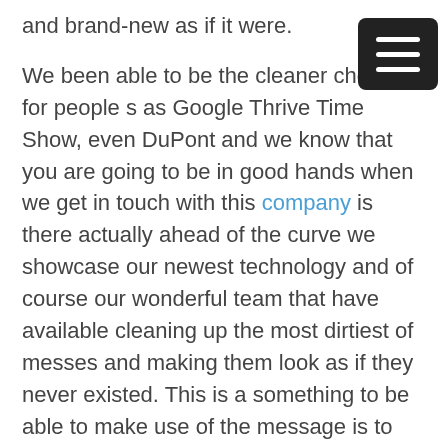and brand-new as if it were.
We been able to be the cleaner choice for people such as Google Thrive Time Show, even DuPont and we know that you are going to be in good hands when we get in touch with this company is there actually ahead of the curve we showcase our newest technology and of course our wonderful team that have available cleaning up the most dirtiest of messes and making them look as if they never existed. This is a something to be able to make use of the message is to give a call to 918-671-2046 or visit theclassicclean.com today.
Find Best Tulsa Janitorial Services | don't clean it yourself
One of the greatest reasonings for you to Find Best Tulsa Janitorial Services is going to be the ability for you to be able to focus on your work that you need to get done and not be focused on cleaning your